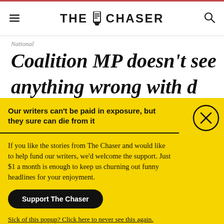THE CHASER
National
Coalition MP doesn't see
Our writers can't be paid in exposure, but they sure can die from it
If you like the stories from The Chaser and would like to help fund our writers, we'd welcome the support. Just $1 a month is enough to keep us churning out funny headlines for your enjoyment.
Support The Chaser
Sick of this popup? Click here to never see this again.